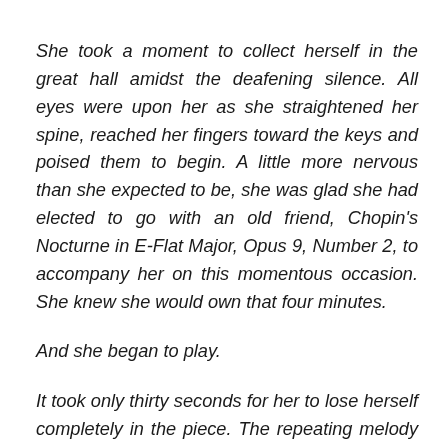She took a moment to collect herself in the great hall amidst the deafening silence. All eyes were upon her as she straightened her spine, reached her fingers toward the keys and poised them to begin. A little more nervous than she expected to be, she was glad she had elected to go with an old friend, Chopin's Nocturne in E-Flat Major, Opus 9, Number 2, to accompany her on this momentous occasion. She knew she would own that four minutes.
And she began to play.
It took only thirty seconds for her to lose herself completely in the piece. The repeating melody always held her … with its haunting legato articulation and its graceful and sometimes even unstructured rhythm. She knew she